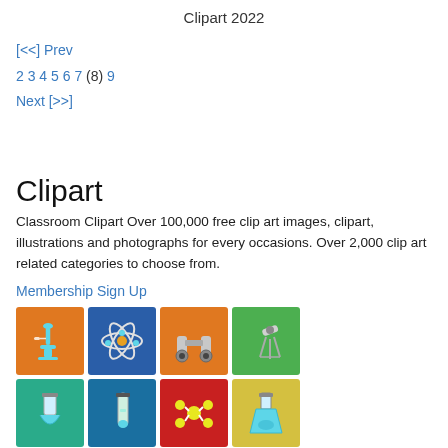Clipart 2022
[<<] Prev
2 3 4 5 6 7 (8) 9
Next [>>]
Clipart
Classroom Clipart Over 100,000 free clip art images, clipart, illustrations and photographs for every occasions. Over 2,000 clip art related categories to choose from.
Membership Sign Up
[Figure (illustration): Grid of science clipart icons including microscope, atom, telescopes, lab flasks, molecules, beakers, and other science-related images on colored backgrounds (orange, teal, blue, green, red, yellow)]